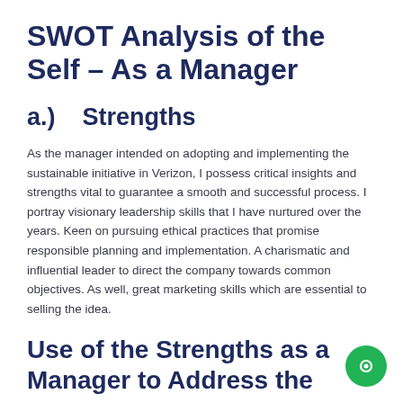SWOT Analysis of the Self – As a Manager
a.)   Strengths
As the manager intended on adopting and implementing the sustainable initiative in Verizon, I possess critical insights and strengths vital to guarantee a smooth and successful process. I portray visionary leadership skills that I have nurtured over the years. Keen on pursuing ethical practices that promise responsible planning and implementation. A charismatic and influential leader to direct the company towards common objectives. As well, great marketing skills which are essential to selling the idea.
Use of the Strengths as a Manager to Address the